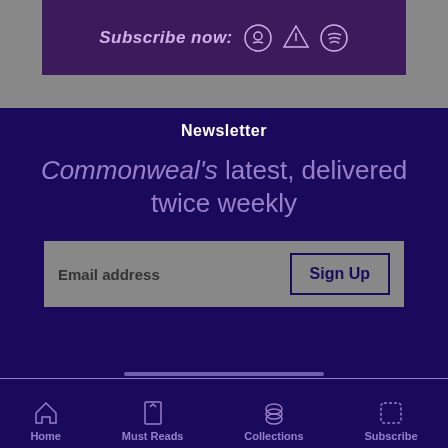[Figure (screenshot): Top banner with dark purple background showing 'Subscribe now:' text and podcast platform icons (Apple Podcasts, Google Podcasts, Spotify)]
Newsletter
Commonweal's latest, delivered twice weekly
[Figure (other): Email signup form with 'Email address' placeholder and 'Sign Up' button]
Subscribe
How you can read Commonweal
Home  Must Reads  Collections  Subscribe